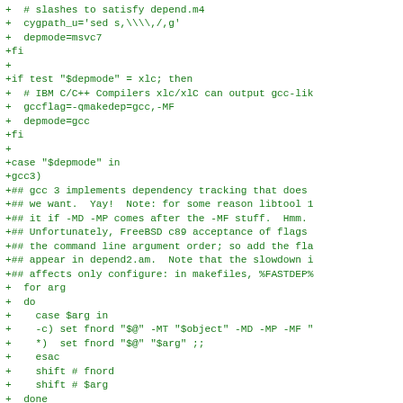+  # slashes to satisfy depend.m4
+  cygpath_u='sed s,\\\\,/,g'
+  depmode=msvc7
+fi
+
+if test "$depmode" = xlc; then
+  # IBM C/C++ Compilers xlc/xlC can output gcc-lik
+  gccflag=-qmakedep=gcc,-MF
+  depmode=gcc
+fi
+
+case "$depmode" in
+gcc3)
+## gcc 3 implements dependency tracking that does
+## we want.  Yay!  Note: for some reason libtool 1
+## it if -MD -MP comes after the -MF stuff.  Hmm.
+## Unfortunately, FreeBSD c89 acceptance of flags
+## the command line argument order; so add the fla
+## appear in depend2.am.  Note that the slowdown i
+## affects only configure: in makefiles, %FASTDEP%
+  for arg
+  do
+    case $arg in
+    -c) set fnord "$@" -MT "$object" -MD -MP -MF "
+    *)  set fnord "$@" "$arg" ;;
+    esac
+    shift # fnord
+    shift # $arg
+  done
+  "$@"
+  stat=$?